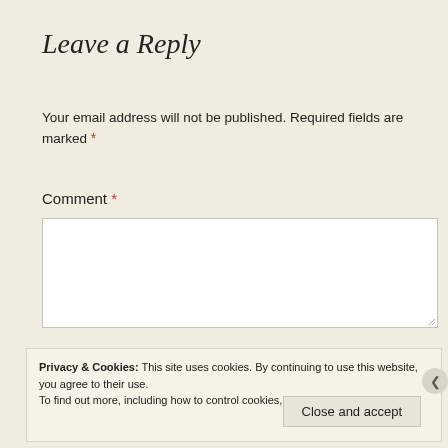Leave a Reply
Your email address will not be published. Required fields are marked *
Comment *
[Figure (other): Empty comment textarea input field]
Privacy & Cookies: This site uses cookies. By continuing to use this website, you agree to their use. To find out more, including how to control cookies, see here: Cookie Policy
Close and accept